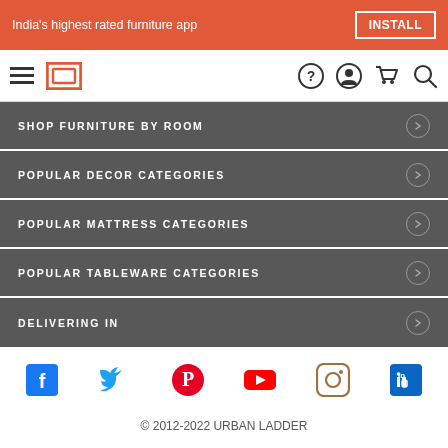India's highest rated furniture app   INSTALL
[Figure (screenshot): Navigation bar with hamburger menu, Urban Ladder logo, help icon, account icon, cart icon, and search icon]
SHOP FURNITURE BY ROOM
POPULAR DECOR CATEGORIES
POPULAR MATTRESS CATEGORIES
POPULAR TABLEWARE CATEGORIES
DELIVERING IN
[Figure (other): Social media icons row: Facebook, Twitter, Pinterest, YouTube, Instagram, LinkedIn]
© 2012-2022 URBAN LADDER